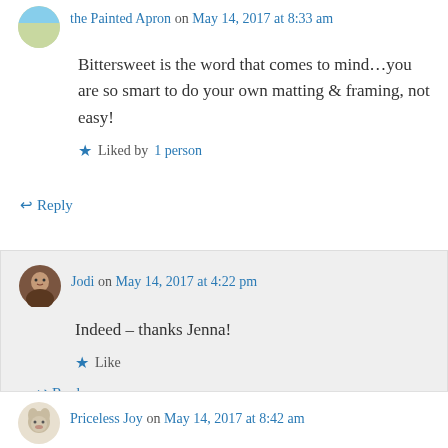the Painted Apron on May 14, 2017 at 8:33 am
Bittersweet is the word that comes to mind…you are so smart to do your own matting & framing, not easy!
Liked by 1 person
Reply
Jodi on May 14, 2017 at 4:22 pm
Indeed – thanks Jenna!
Like
Reply
Priceless Joy on May 14, 2017 at 8:42 am